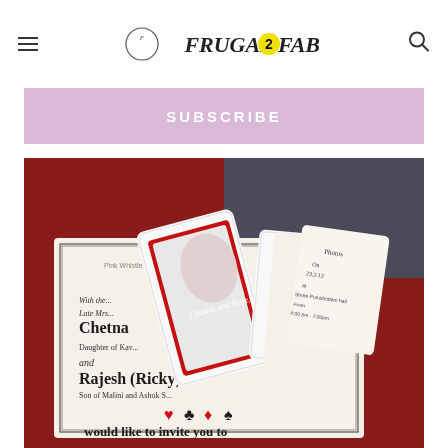FRUGAL2FAB
SUBSCRIBE
[Figure (photo): Wedding invitation cards with playing card theme design by Pink Whistle Man. Shows a large invitation with names Chetna and Rajesh (Ricky), Son of Malini and Ashok, Daughter of Kav... with playing card suits (heart, club, diamond, spade) and text 'would like to invite you to their wedding'. Overlaid playing cards with Queen of Hearts design. Smaller event cards showing Mehndi and Photos events dated 23.2.13 at Shree Purushottam hall.]